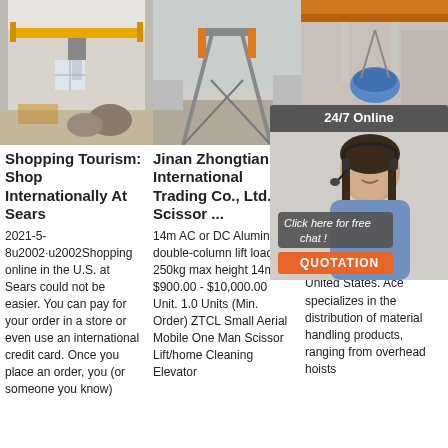[Figure (photo): Warehouse interior with yellow overhead crane, timber on floor]
[Figure (photo): Outdoor gantry crane / steel structure construction]
[Figure (photo): Overhead crane with blue grab bucket, industrial facility]
[Figure (photo): 24/7 Online chat agent woman with headset, click here for free chat, QUOTATION button overlay]
Shopping Tourism: Shop Internationally At Sears
2021-5-8u2002·u2002Shopping online in the U.S. at Sears could not be easier. You can pay for your order in a store or even use an international credit card. Once you place an order, you (or someone you know)
Jinan Zhongtian International Trading Co., Ltd. - Scissor ...
14m AC or DC Aluminum double-column lift load 250kg max height 14m. $900.00 - $10,000.00 Unit. 1.0 Units (Min. Order) ZTCL Small Aerial Mobile One Man Scissor Lift/home Cleaning Elevator
Ace In Inc.
Ace Ind was founded and is one of the largest crane and hoist distribution, manufacturing, and service companies in the United States. Ace specializes in the distribution of material handling products, ranging from overhead hoists